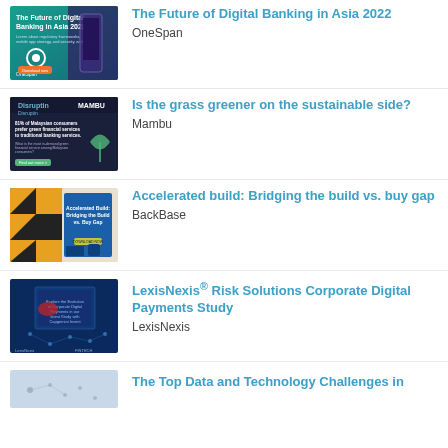[Figure (screenshot): Thumbnail for 'The Future of Digital Banking in Asia 2022' by OneSpan — teal/green background with phone graphic and 'Download now' button]
The Future of Digital Banking in Asia 2022
OneSpan
[Figure (screenshot): Thumbnail for 'Is the grass greener on the sustainable side?' by Mambu — dark navy background with text about Malaysian consumers preferring green financial services]
Is the grass greener on the sustainable side?
Mambu
[Figure (screenshot): Thumbnail for 'Accelerated build: Bridging the build vs. buy gap' by BackBase — blue and orange geometric pattern cover]
Accelerated build: Bridging the build vs. buy gap
BackBase
[Figure (screenshot): Thumbnail for 'LexisNexis® Risk Solutions Corporate Digital Payments Study' by LexisNexis — blue cover with network graphic]
LexisNexis® Risk Solutions Corporate Digital Payments Study
LexisNexis
[Figure (screenshot): Partial thumbnail for 'The Top Data and Technology Challenges in...']
The Top Data and Technology Challenges in